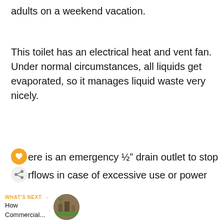adults on a weekend vacation.
This toilet has an electrical heat and vent fan. Under normal circumstances, all liquids get evaporated, so it manages liquid waste very nicely.
There is an emergency ½" drain outlet to stop overflows in case of excessive use or power
WHAT'S NEXT → How Commercial...